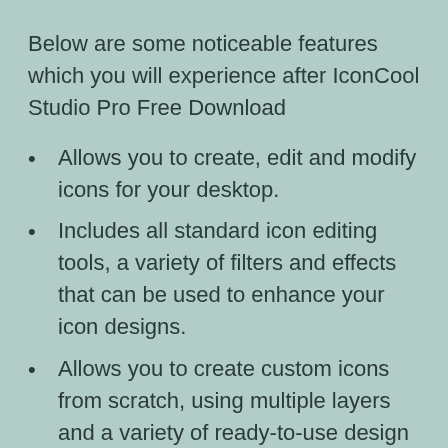Below are some noticeable features which you will experience after IconCool Studio Pro Free Download
Allows you to create, edit and modify icons for your desktop.
Includes all standard icon editing tools, a variety of filters and effects that can be used to enhance your icon designs.
Allows you to create custom icons from scratch, using multiple layers and a variety of ready-to-use design elements.
Ability to extract icons from an